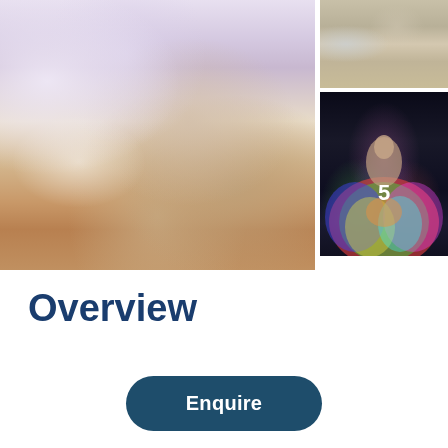[Figure (photo): Main photo showing two people sitting on sand dunes, one wearing traditional Arab white thobe and red keffiyeh, another in casual clothes with bare feet on sandy ground]
[Figure (photo): Thumbnail photo showing vehicles and desert sand dunes landscape]
[Figure (photo): Thumbnail photo showing a performer in a colorful spinning skirt/dress on a dark stage, with number 5 overlay]
Overview
Enquire